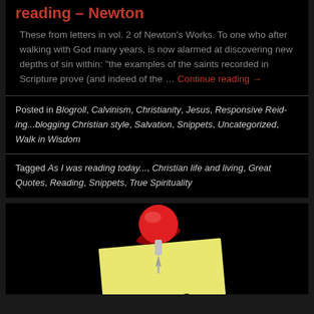reading – Newton
These from letters in vol. 2 of Newton's Works. To one who after walking with God many years, is now alarmed at discovering new depths of sin within: "the examples of the saints recorded in Scripture prove (and indeed of the … Continue reading →
Posted in Blogroll, Calvinism, Christianity, Jesus, Responsive Reid-ing...blogging Christian style, Salvation, Snippets, Uncategorized, Walk in Wisdom
Tagged As I was reading today..., Christian life and living, Great Quotes, Reading, Snippets, True Spirituality
[Figure (photo): A red pushpin stuck into a yellow sticky note against a dark background, with partial text visible at the bottom of the note.]